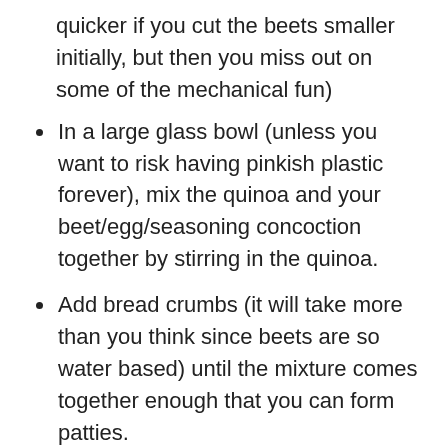quicker if you cut the beets smaller initially, but then you miss out on some of the mechanical fun)
In a large glass bowl (unless you want to risk having pinkish plastic forever), mix the quinoa and your beet/egg/seasoning concoction together by stirring in the quinoa.
Add bread crumbs (it will take more than you think since beets are so water based) until the mixture comes together enough that you can form patties.
Set aside for flavours to blend and for the mixture to thicken a tad more, and heat a large flat bottomed pan over medium heat.
Any flat pan will do, but nonstick and cast iron are best...and I'd caution against